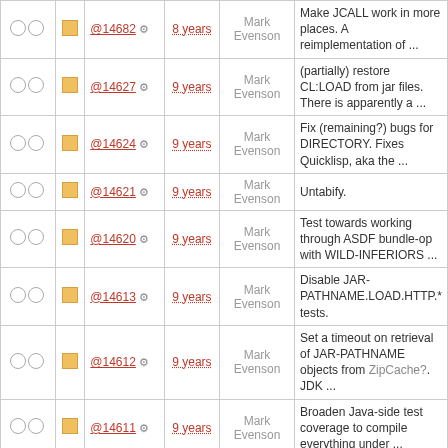|  |  | Commit | Age | Author | Description |
| --- | --- | --- | --- | --- | --- |
| ○ ○ | □ | @14682 ⚙ | 8 years | Mark Evenson | Make JCALL work in more places. A reimplementation of ... |
| ○ ○ | □ | @14627 ⚙ | 9 years | Mark Evenson | (partially) restore CL:LOAD from jar files. There is apparently a ... |
| ○ ○ | □ | @14624 ⚙ | 9 years | Mark Evenson | Fix (remaining?) bugs for DIRECTORY. Fixes Quicklisp, aka the ... |
| ○ ○ | □ | @14621 ⚙ | 9 years | Mark Evenson | Untabify. |
| ○ ○ | □ | @14620 ⚙ | 9 years | Mark Evenson | Test towards working through ASDF bundle-op with WILD-INFERIORS ... |
| ○ ○ | □ | @14613 ⚙ | 9 years | Mark Evenson | Disable JAR-PATHNAME.LOAD.HTTP.* tests. |
| ○ ○ | □ | @14612 ⚙ | 9 years | Mark Evenson | Set a timeout on retrieval of JAR-PATHNAME objects from ZipCache?. JDK ... |
| ○ ○ | □ | @14611 ⚙ | 9 years | Mark Evenson | Broaden Java-side test coverage to compile everything under ... |
| ○ ○ | □ | @14603 ⚙ | 9 years | Mark Evenson | Restore the run-to-completion quality of the ABCL test suite. ... |
| ○ ○ | □ | @14597 ⚙ | 9 years | Mark Evenson | Latest test results ... |
| ○ ○ | □ | @14587 ⚙ | 9 years | Mark Evenson | Transform (hopefully) all occurances of old common-lisp.net URIs to |